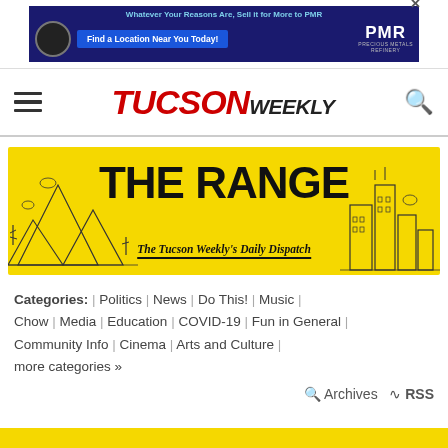[Figure (infographic): PMR Precious Metals Refinery advertisement banner with dark blue background, watch image, blue CTA button 'Find a Location Near You Today!', PMR logo, and tagline 'Whatever Your Reasons Are, Sell it for More to PMR']
TUCSON WEEKLY
[Figure (infographic): The Range - The Tucson Weekly's Daily Dispatch banner with yellow background, large bold black text 'THE RANGE', subtitle 'The Tucson Weekly's Daily Dispatch', and black-and-white sketch illustrations of desert landscape on left and city buildings on right]
Categories: | Politics | News | Do This! | Music | Chow | Media | Education | COVID-19 | Fun in General | Community Info | Cinema | Arts and Culture | more categories »
Archives  RSS